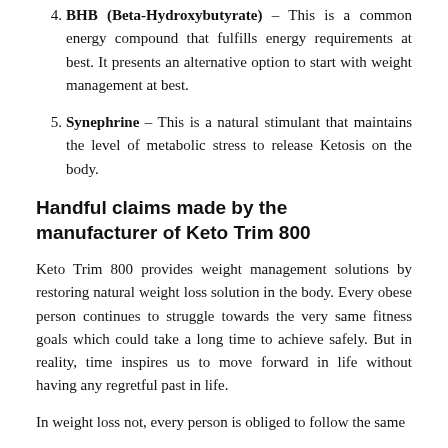4. BHB (Beta-Hydroxybutyrate) – This is a common energy compound that fulfills energy requirements at best. It presents an alternative option to start with weight management at best.
5. Synephrine – This is a natural stimulant that maintains the level of metabolic stress to release Ketosis on the body.
Handful claims made by the manufacturer of Keto Trim 800
Keto Trim 800 provides weight management solutions by restoring natural weight loss solution in the body. Every obese person continues to struggle towards the very same fitness goals which could take a long time to achieve safely. But in reality, time inspires us to move forward in life without having any regretful past in life.
In weight loss not, every person is obliged to follow the same